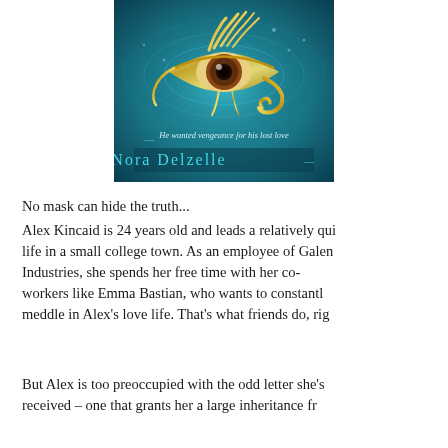[Figure (illustration): Book cover for a novel by Nora Delzelle featuring a golden Eye of Horus symbol on a teal/blue swirling background. Text on cover reads 'He wanted vengeance for his lost love' and 'Nora Delzelle'.]
No mask can hide the truth...
Alex Kincaid is 24 years old and leads a relatively quiet life in a small college town. As an employee of Galen Industries, she spends her free time with her co-workers like Emma Bastian, who wants to constantly meddle in Alex's love life. That's what friends do, right?
But Alex is too preoccupied with the odd letter she's received – one that grants her a large inheritance fr